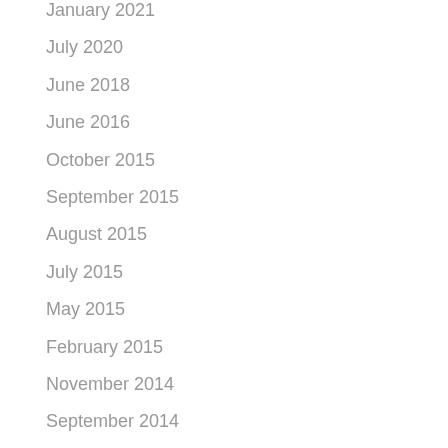January 2021
July 2020
June 2018
June 2016
October 2015
September 2015
August 2015
July 2015
May 2015
February 2015
November 2014
September 2014
June 2014
May 2014
March 2014